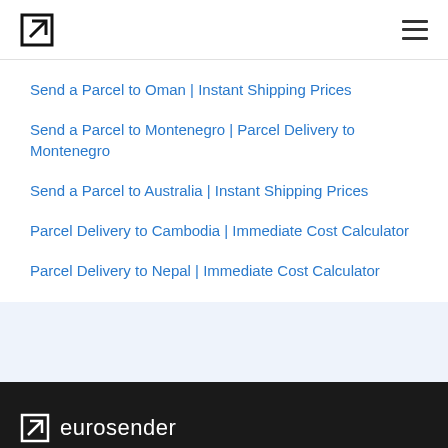Eurosender navigation header
Send a Parcel to Oman | Instant Shipping Prices
Send a Parcel to Montenegro | Parcel Delivery to Montenegro
Send a Parcel to Australia | Instant Shipping Prices
Parcel Delivery to Cambodia | Immediate Cost Calculator
Parcel Delivery to Nepal | Immediate Cost Calculator
eurosender